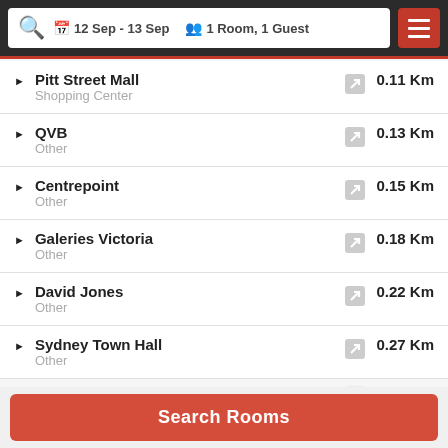12 Sep - 13 Sep  1 Room, 1 Guest
Pitt Street Mall
Shopping Center
0.11 Km
QVB
Other
0.13 Km
Centrepoint
Other
0.15 Km
Galeries Victoria
Other
0.18 Km
David Jones
Other
0.22 Km
Sydney Town Hall
Other
0.27 Km
Great Synagogue
0.30 Km
Search Rooms